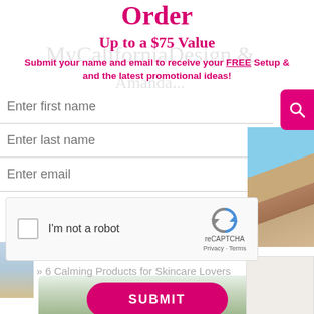Order
Up to a $75 Value
Submit your name and email to receive your FREE Setup & and the latest promotional ideas!
Enter first name
Enter last name
Enter email
[Figure (screenshot): reCAPTCHA widget with checkbox labeled I'm not a robot and reCAPTCHA logo with Privacy and Terms links]
Home » 6 Calming Products for Skincare Lovers
SUBMIT